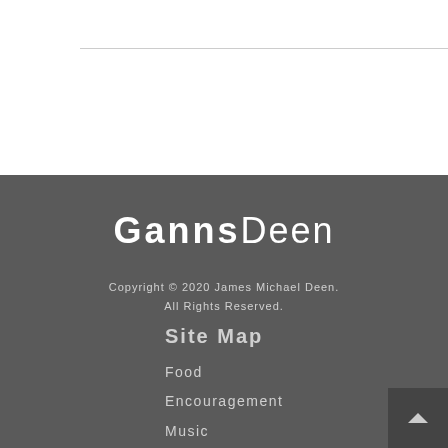[Figure (logo): GannsDeen logo with bold 'Ganns' and light-weight 'Deen' in white text on dark gray background]
Copyright © 2020 James Michael Deen.
All Rights Reserved.
Site Map
Food
Encouragement
Music
Comedy
Personal